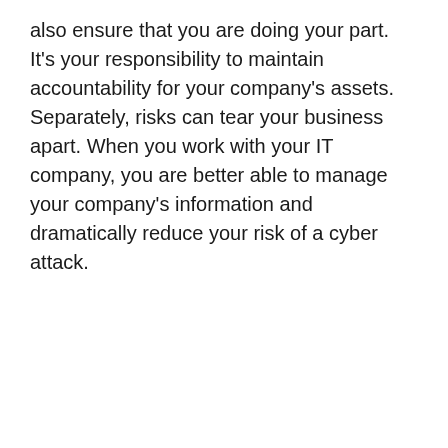also ensure that you are doing your part. It’s your responsibility to maintain accountability for your company’s assets. Separately, risks can tear your business apart. When you work with your IT company, you are better able to manage your company’s information and dramatically reduce your risk of a cyber attack.
[Figure (infographic): Dark background banner with people working, containing headline 'Keeping Your Business Up And Running Productively Is One Of Our Key Goals.' with a green-bordered rectangle containing 'Contact 403Tech', green circle buttons on left (dollar sign) and right (chat dots), and smaller text about IT Pricing Calculator, complimentary consultation, and fill in form.]